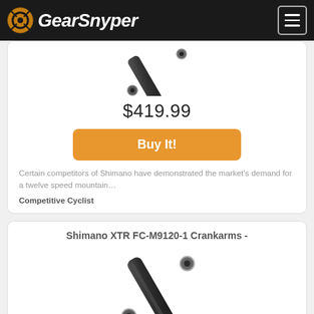GearSnyper
[Figure (photo): Shimano crankarm bicycle component, dark metallic, diagonal angle view]
$419.99
Buy It!
Certain competitors of Shimano have demonstrated the market's demand for a twelve speed mountain…
Competitive Cyclist
Shimano XTR FC-M9120-1 Crankarms -
[Figure (photo): Shimano XTR FC-M9120-1 crankarm bicycle component, dark metallic, diagonal angle view]
$419.99